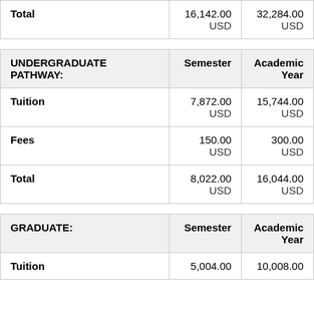|  | Semester | Academic Year |
| --- | --- | --- |
| Total | 16,142.00
USD | 32,284.00
USD |
| UNDERGRADUATE PATHWAY: | Semester | Academic Year |
| --- | --- | --- |
| Tuition | 7,872.00
USD | 15,744.00
USD |
| Fees | 150.00
USD | 300.00
USD |
| Total | 8,022.00
USD | 16,044.00
USD |
| GRADUATE: | Semester | Academic Year |
| --- | --- | --- |
| Tuition | 5,004.00 | 10,008.00 |